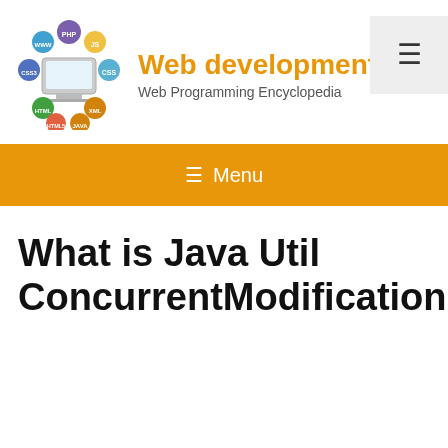Web development blo — Web Programming Encyclopedia
Menu
What is Java Util ConcurrentModificationException?